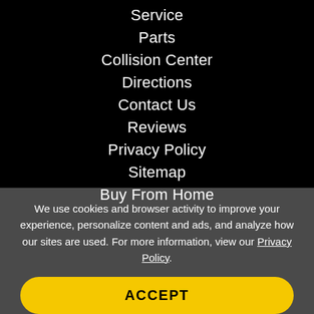Finance
Service
Parts
Collision Center
Directions
Contact Us
Reviews
Privacy Policy
Sitemap
Buy From Home
We use cookies and browser activity to improve your experience, personalize content and ads, and analyze how our sites are used. For more information, view our Privacy Policy.